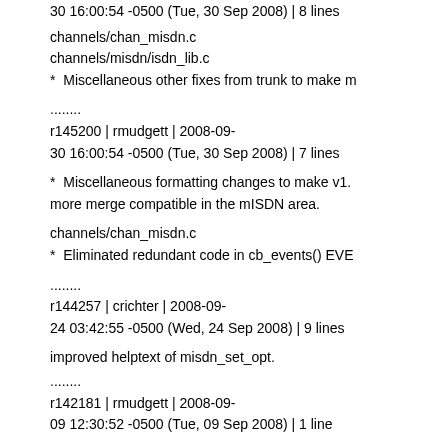30 16:00:54 -0500 (Tue, 30 Sep 2008) | 8 lines
channels/chan_misdn.c
channels/misdn/isdn_lib.c
*  Miscellaneous other fixes from trunk to make m
........
r145200 | rmudgett | 2008-09-30 16:00:54 -0500 (Tue, 30 Sep 2008) | 7 lines
*  Miscellaneous formatting changes to make v1. more merge compatible in the mISDN area.
channels/chan_misdn.c
*  Eliminated redundant code in cb_events() EVE
........
r144257 | crichter | 2008-09-24 03:42:55 -0500 (Wed, 24 Sep 2008) | 9 lines
improved helptext of misdn_set_opt.
........
r142181 | rmudgett | 2008-09-09 12:30:52 -0500 (Tue, 09 Sep 2008) | 1 line
Cleaned up comment
........
r138738 | rmudgett | 2008-08-18 16:07:28 -0500 (Mon, 18 Aug 2008) | 30 lines